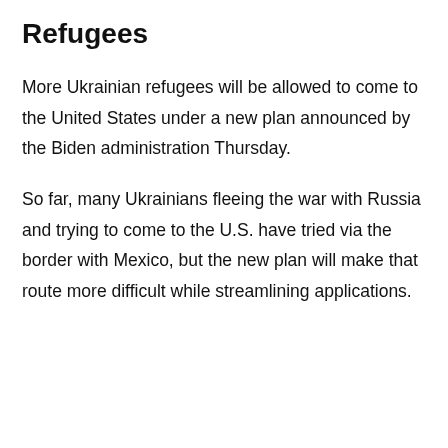Refugees
More Ukrainian refugees will be allowed to come to the United States under a new plan announced by the Biden administration Thursday.
So far, many Ukrainians fleeing the war with Russia and trying to come to the U.S. have tried via the border with Mexico, but the new plan will make that route more difficult while streamlining applications.